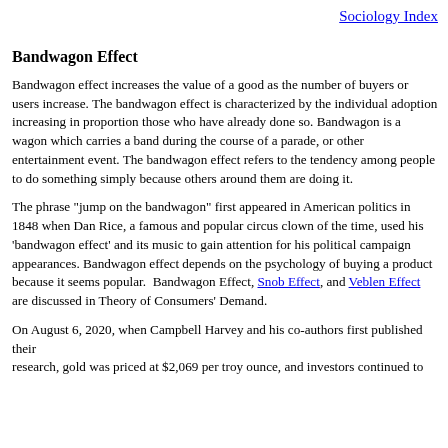Sociology Index
Bandwagon Effect
Bandwagon effect increases the value of a good as the number of buyers or users increase. The bandwagon effect is characterized by the individual adoption increasing in proportion those who have already done so. Bandwagon is a wagon which carries a band during the course of a parade, or other entertainment event. The bandwagon effect refers to the tendency among people to do something simply because others around them are doing it.
The phrase "jump on the bandwagon" first appeared in American politics in 1848 when Dan Rice, a famous and popular circus clown of the time, used his 'bandwagon effect' and its music to gain attention for his political campaign appearances. Bandwagon effect depends on the psychology of buying a product because it seems popular. Bandwagon Effect, Snob Effect, and Veblen Effect are discussed in Theory of Consumers' Demand.
On August 6, 2020, when Campbell Harvey and his co-authors first published their research, gold was priced at $2,069 per troy ounce, and investors continued to